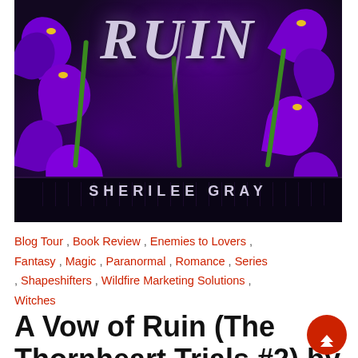[Figure (illustration): Book cover of 'A Vow of Ruin' by Sherilee Gray showing the title 'RUIN' in large decorative script over a dark background with purple iris/lily flowers and green stems. Author name 'SHERILEE GRAY' in bold caps at the bottom with ornamental dark borders.]
Blog Tour , Book Review , Enemies to Lovers , Fantasy , Magic , Paranormal , Romance , Series , Shapeshifters , Wildfire Marketing Solutions , Witches
A Vow of Ruin (The Thornheart Trials #2) by